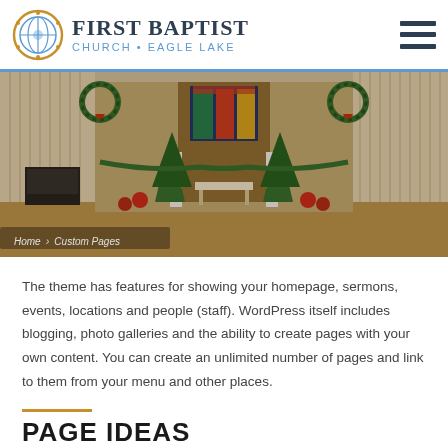First Baptist Church • Eagle Lake
[Figure (photo): Church interior decorated for Christmas with Christmas trees, wreaths with red bows, a stained glass window above the altar, poinsettias, and garland along the pews. Breadcrumb: Home > Custom Pages.]
The theme has features for showing your homepage, sermons, events, locations and people (staff). WordPress itself includes blogging, photo galleries and the ability to create pages with your own content. You can create an unlimited number of pages and link to them from your menu and other places.
PAGE IDEAS